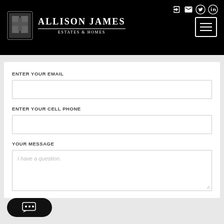Allison James Estates & Homes
ENTER YOUR EMAIL
ENTER YOUR CELL PHONE
YOUR MESSAGE
I have a question.